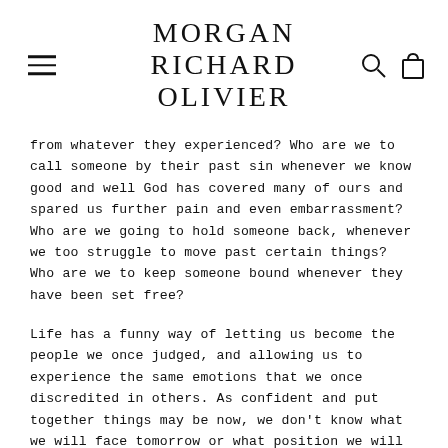MORGAN RICHARD OLIVIER
from whatever they experienced? Who are we to call someone by their past sin whenever we know good and well God has covered many of ours and spared us further pain and even embarrassment? Who are we going to hold someone back, whenever we too struggle to move past certain things? Who are we to keep someone bound whenever they have been set free?
Life has a funny way of letting us become the people we once judged, and allowing us to experience the same emotions that we once discredited in others. As confident and put together things may be now, we don't know what we will face tomorrow or what position we will be put in down the road. If the tables were turned, we would not want people